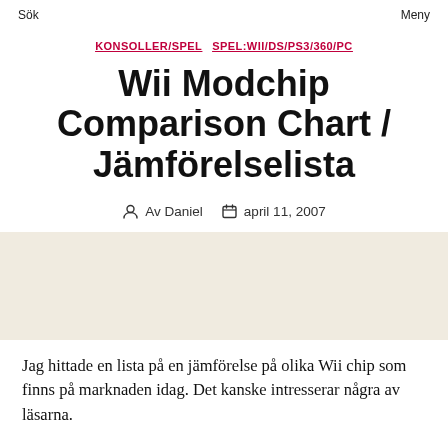Sök   Meny
KONSOLLER/SPEL   SPEL:WII/DS/PS3/360/PC
Wii Modchip Comparison Chart / Jämförelselista
Av Daniel   april 11, 2007
Jag hittade en lista på en jämförelse på olika Wii chip som finns på marknaden idag. Det kanske intresserar några av läsarna.